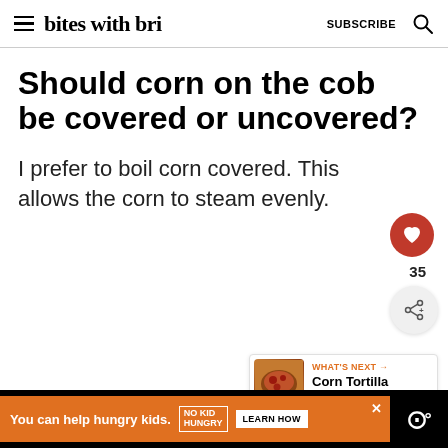bites with bri — SUBSCRIBE
Should corn on the cob be covered or uncovered?
I prefer to boil corn covered. This allows the corn to steam evenly.
WHAT'S NEXT → Corn Tortilla Quesadilla
You can help hungry kids. NO KID HUNGRY LEARN HOW